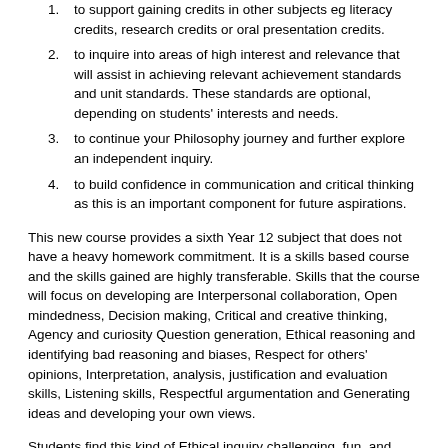to support gaining credits in other subjects eg literacy credits, research credits or oral presentation credits.
to inquire into areas of high interest and relevance that will assist in achieving relevant achievement standards and unit standards. These standards are optional, depending on students' interests and needs.
to continue your Philosophy journey and further explore an independent inquiry.
to build confidence in communication and critical thinking as this is an important component for future aspirations.
This new course provides a sixth Year 12 subject that does not have a heavy homework commitment. It is a skills based course and the skills gained are highly transferable. Skills that the course will focus on developing are Interpersonal collaboration, Open mindedness, Decision making, Critical and creative thinking, Agency and curiosity Question generation, Ethical reasoning and identifying bad reasoning and biases, Respect for others' opinions, Interpretation, analysis, justification and evaluation skills, Listening skills, Respectful argumentation and Generating ideas and developing your own views.
Students find this kind of Ethical inquiry challenging, fun, and mind-expanding. We do not shy away from questions that are often